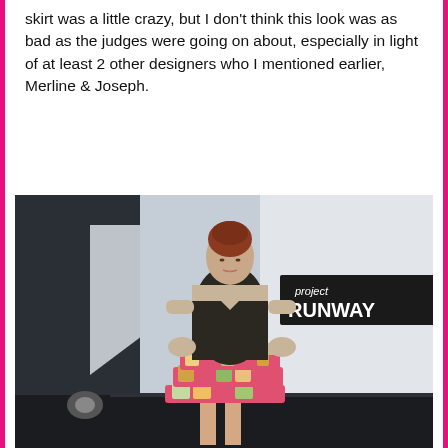skirt was a little crazy, but I don't think this look was as bad as the judges were going on about, especially in light of at least 2 other designers who I mentioned earlier, Merline & Joseph.
[Figure (photo): A model on a runway wearing a dark sequined top and a colorful ruffled skirt with pink and floral fabric pieces. A 'project RUNWAY' sign is visible in the background.]